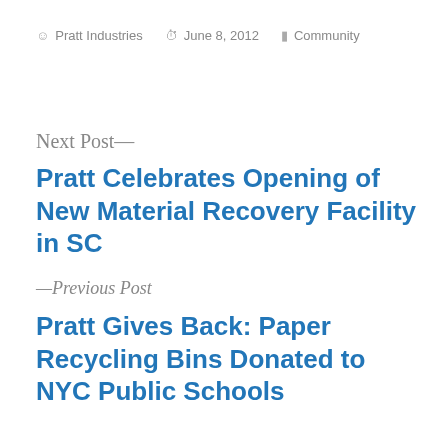Pratt Industries   June 8, 2012   Community
Next Post—
Pratt Celebrates Opening of New Material Recovery Facility in SC
—Previous Post
Pratt Gives Back: Paper Recycling Bins Donated to NYC Public Schools